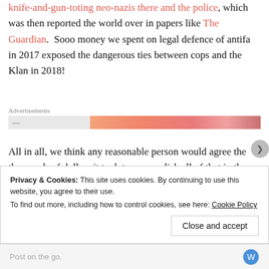knife-and-gun-toting neo-nazis there and the police, which was then reported the world over in papers like The Guardian.  Sooo money we spent on legal defence of antifa in 2017 exposed the dangerous ties between cops and the Klan in 2018!
[Figure (other): Advertisements banner with a gradient orange-red horizontal bar]
All in all, we think any reasonable person would agree the thousands of dollars it took to accomplish all of that in the last three months was money well-spent.
Privacy & Cookies: This site uses cookies. By continuing to use this website, you agree to their use.
To find out more, including how to control cookies, see here: Cookie Policy
Close and accept
Post on the go.